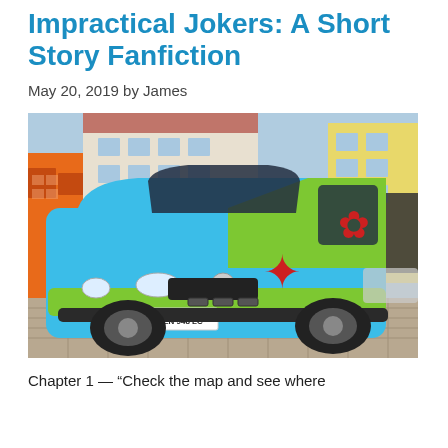Impractical Jokers: A Short Story Fanfiction
May 20, 2019 by James
[Figure (photo): A Volkswagen T4 van painted to look like the Mystery Machine from Scooby-Doo, in blue with green and red star graphics, parked on a cobblestone town square with European buildings in the background. License plate reads EN 948 LC.]
Chapter 1 — “Check the map and see where